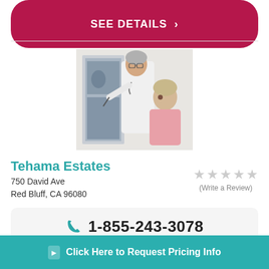SEE DETAILS
[Figure (photo): A male doctor in a white coat with stethoscope pointing at an X-ray image on a light board, with an elderly female patient in a pink top looking at the X-ray]
Tehama Estates
750 David Ave
Red Bluff, CA 96080
(Write a Review)
1-855-243-3078
Click Here to Request Pricing Info